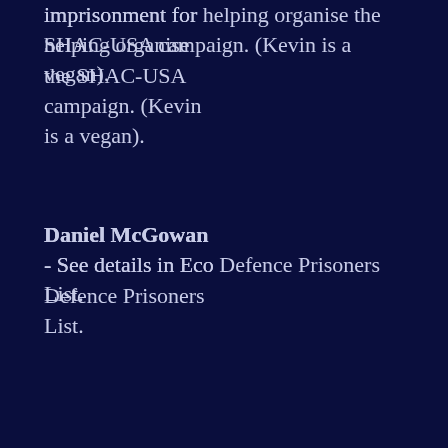imprisonment for helping organise the SHAC-USA campaign. (Kevin is a vegan).
Daniel McGowan - See details in Eco Defence Prisoners List.
Gavin Medd-Hall WV9475, HMP Coldingley, Shaftesbury Road, Bisley, Woking, Surrey GU24 9EX, England. Serving 8 years for conspiracy to blackmail Huntingdon Life Sciences. (Gavin is